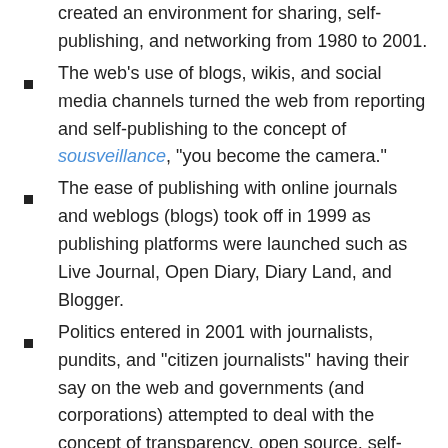created an environment for sharing, self-publishing, and networking from 1980 to 2001.
The web's use of blogs, wikis, and social media channels turned the web from reporting and self-publishing to the concept of sousveillance, "you become the camera."
The ease of publishing with online journals and weblogs (blogs) took off in 1999 as publishing platforms were launched such as Live Journal, Open Diary, Diary Land, and Blogger.
Politics entered in 2001 with journalists, pundits, and "citizen journalists" having their say on the web and governments (and corporations) attempted to deal with the concept of transparency, open source, self-publishing, and freedom of speech. Governments continue to struggle to apply old-fashioned laws to the fast evolving social web.